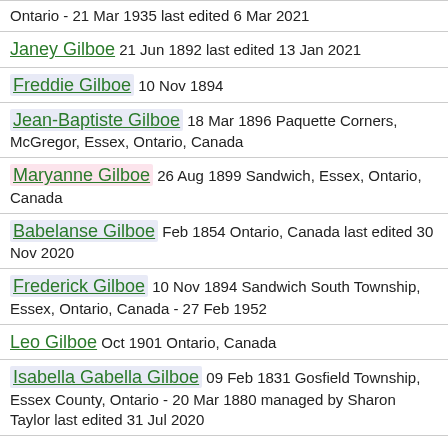Ontario - 21 Mar 1935 last edited 6 Mar 2021
Janey Gilboe 21 Jun 1892 last edited 13 Jan 2021
Freddie Gilboe 10 Nov 1894
Jean-Baptiste Gilboe 18 Mar 1896 Paquette Corners, McGregor, Essex, Ontario, Canada
Maryanne Gilboe 26 Aug 1899 Sandwich, Essex, Ontario, Canada
Babelanse Gilboe Feb 1854 Ontario, Canada last edited 30 Nov 2020
Frederick Gilboe 10 Nov 1894 Sandwich South Township, Essex, Ontario, Canada - 27 Feb 1952
Leo Gilboe Oct 1901 Ontario, Canada
Isabella Gabella Gilboe 09 Feb 1831 Gosfield Township, Essex County, Ontario - 20 Mar 1880 managed by Sharon Taylor last edited 31 Jul 2020